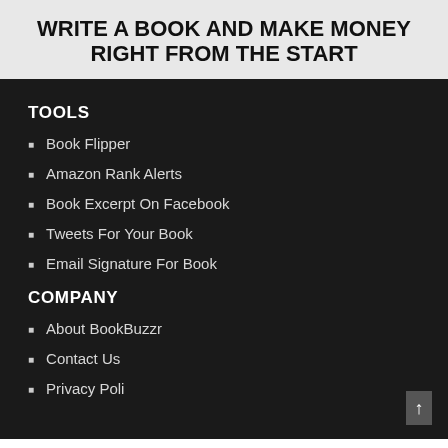WRITE A BOOK AND MAKE MONEY RIGHT FROM THE START
TOOLS
Book Flipper
Amazon Rank Alerts
Book Excerpt On Facebook
Tweets For Your Book
Email Signature For Book
COMPANY
About BookBuzzr
Contact Us
Privacy Poli...